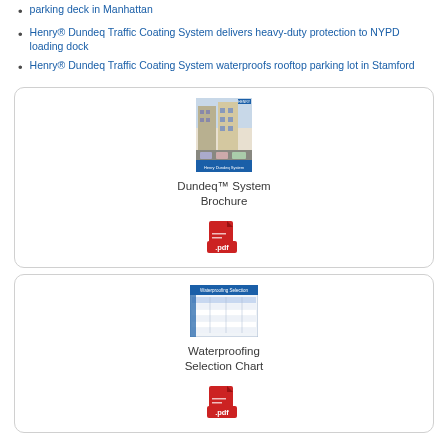parking deck in Manhattan
Henry® Dundeq Traffic Coating System delivers heavy-duty protection to NYPD loading dock
Henry® Dundeq Traffic Coating System waterproofs rooftop parking lot in Stamford
[Figure (other): Dundeq System Brochure card with brochure thumbnail image and PDF download icon]
[Figure (other): Waterproofing Selection Chart card with chart thumbnail image and PDF download icon]